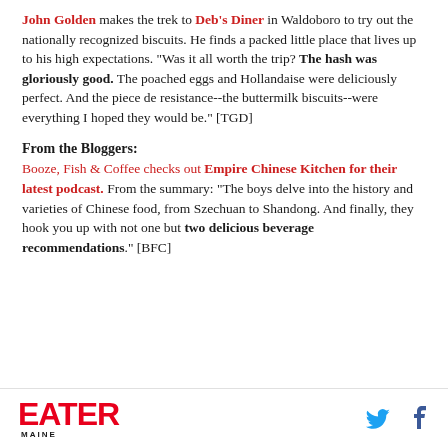John Golden makes the trek to Deb's Diner in Waldoboro to try out the nationally recognized biscuits. He finds a packed little place that lives up to his high expectations. "Was it all worth the trip? The hash was gloriously good. The poached eggs and Hollandaise were deliciously perfect. And the piece de resistance--the buttermilk biscuits--were everything I hoped they would be." [TGD]
From the Bloggers:
Booze, Fish & Coffee checks out Empire Chinese Kitchen for their latest podcast. From the summary: "The boys delve into the history and varieties of Chinese food, from Szechuan to Shandong. And finally, they hook you up with not one but two delicious beverage recommendations." [BFC]
EATER MAINE